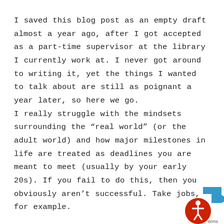I saved this blog post as an empty draft almost a year ago, after I got accepted as a part-time supervisor at the library I currently work at. I never got around to writing it, yet the things I wanted to talk about are still as poignant a year later, so here we go. I really struggle with the mindsets surrounding the “real world” (or the adult world) and how major milestones in life are treated as deadlines you are meant to meet (usually by your early 20s). If you fail to do this, then you obviously aren’t successful. Take jobs, for example.
[Figure (illustration): Accessibility widget icon in bottom-right corner: blue arrow and red circle with white human figure (wheelchair accessibility symbol), with partial 'erms' text visible]